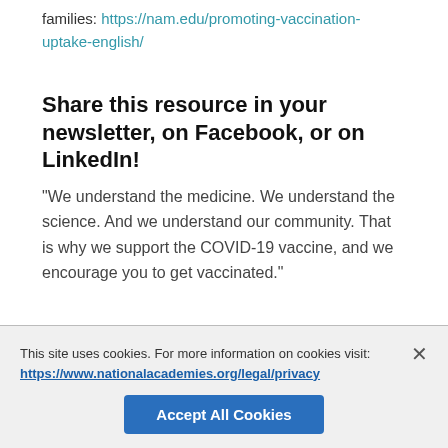families: https://nam.edu/promoting-vaccination-uptake-english/
Share this resource in your newsletter, on Facebook, or on LinkedIn!
“We understand the medicine. We understand the science. And we understand our community. That is why we support the COVID-19 vaccine, and we encourage you to get vaccinated.”
This site uses cookies. For more information on cookies visit: https://www.nationalacademies.org/legal/privacy